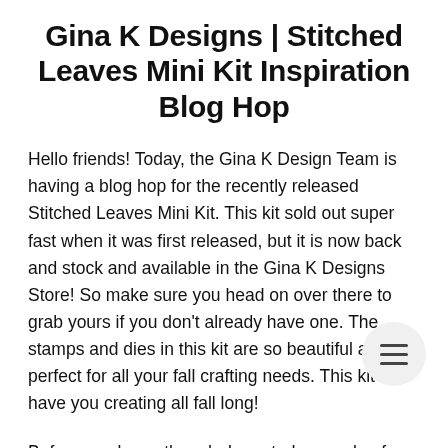Gina K Designs | Stitched Leaves Mini Kit Inspiration Blog Hop
Hello friends! Today, the Gina K Design Team is having a blog hop for the recently released Stitched Leaves Mini Kit. This kit sold out super fast when it was first released, but it is now back and stock and available in the Gina K Designs Store! So make sure you head on over there to grab yours if you don't already have one. The stamps and dies in this kit are so beautiful and are perfect for all your fall crafting needs. This kit will have you creating all fall long!
Before you leave though, I created a couple of cards to give you some inspiration and ideas on how to use the stamps and dies